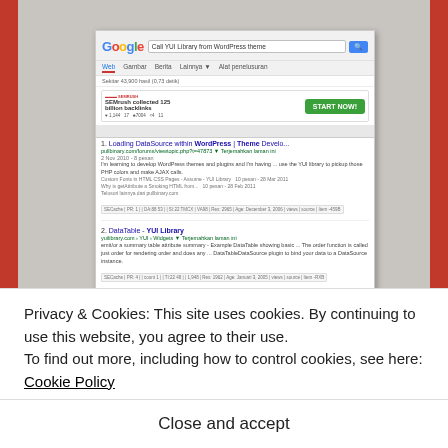[Figure (screenshot): Google search results screenshot showing search for 'Call YUI Library from WordPress theme' with several results including DataSource, DataTable, YUI+WordPress links and an SEMrush ad banner]
Privacy & Cookies: This site uses cookies. By continuing to use this website, you agree to their use.
To find out more, including how to control cookies, see here: Cookie Policy
Close and accept